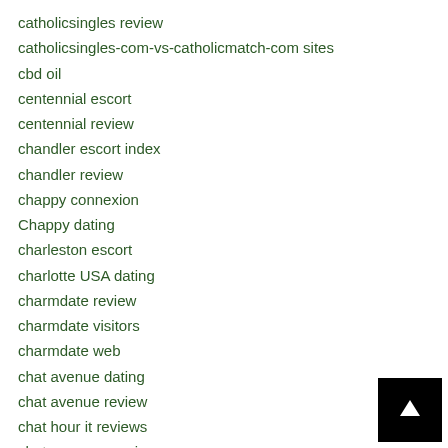catholicsingles review
catholicsingles-com-vs-catholicmatch-com sites
cbd oil
centennial escort
centennial review
chandler escort index
chandler review
chappy connexion
Chappy dating
charleston escort
charlotte USA dating
charmdate review
charmdate visitors
charmdate web
chat avenue dating
chat avenue review
chat hour it reviews
chat zozo connexion
chat zozo reviews